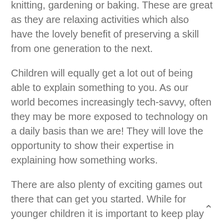knitting, gardening or baking. These are great as they are relaxing activities which also have the lovely benefit of preserving a skill from one generation to the next.
Children will equally get a lot out of being able to explain something to you. As our world becomes increasingly tech-savvy, often they may be more exposed to technology on a daily basis than we are! They will love the opportunity to show their expertise in explaining how something works.
There are also plenty of exciting games out there that can get you started. While for younger children it is important to keep play simple and fun, older children might be interested in...